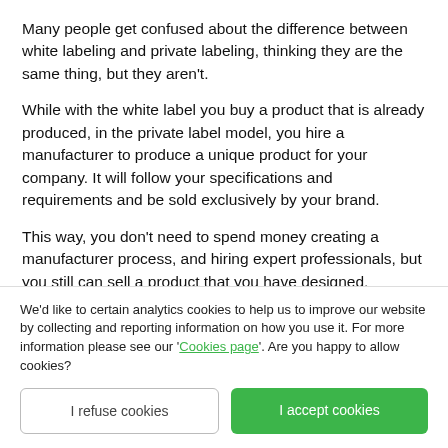Many people get confused about the difference between white labeling and private labeling, thinking they are the same thing, but they aren't.
While with the white label you buy a product that is already produced, in the private label model, you hire a manufacturer to produce a unique product for your company. It will follow your specifications and requirements and be sold exclusively by your brand.
This way, you don't need to spend money creating a manufacturer process, and hiring expert professionals, but you still can sell a product that you have designed.
We'd like to certain analytics cookies to help us to improve our website by collecting and reporting information on how you use it. For more information please see our 'Cookies page'. Are you happy to allow cookies?